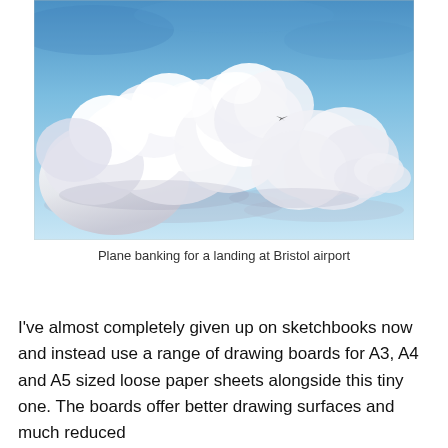[Figure (illustration): Watercolour painting of fluffy white cumulus clouds against a blue sky, with a small plane banking in the upper-right area of the cloud formation.]
Plane banking for a landing at Bristol airport
I've almost completely given up on sketchbooks now and instead use a range of drawing boards for A3, A4 and A5 sized loose paper sheets alongside this tiny one. The boards offer better drawing surfaces and much reduced